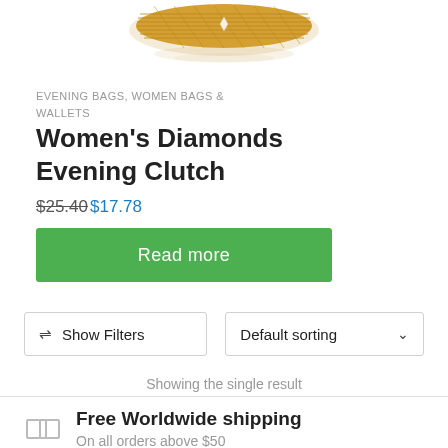[Figure (photo): Product image of a gold diamond-mesh evening clutch bag shown from above on a white background]
EVENING BAGS, WOMEN BAGS & WALLETS
Women's Diamonds Evening Clutch
$25.40 $17.78
Read more
Show Filters
Default sorting
Showing the single result
Free Worldwide shipping
On all orders above $50